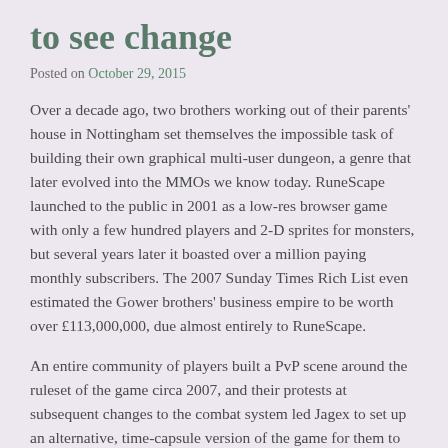to see change
Posted on October 29, 2015
Over a decade ago, two brothers working out of their parents' house in Nottingham set themselves the impossible task of building their own graphical multi-user dungeon, a genre that later evolved into the MMOs we know today. RuneScape launched to the public in 2001 as a low-res browser game with only a few hundred players and 2-D sprites for monsters, but several years later it boasted over a million paying monthly subscribers. The 2007 Sunday Times Rich List even estimated the Gower brothers' business empire to be worth over £113,000,000, due almost entirely to RuneScape.
An entire community of players built a PvP scene around the ruleset of the game circa 2007, and their protests at subsequent changes to the combat system led Jagex to set up an alternative, time-capsule version of the game for them to play – a situation